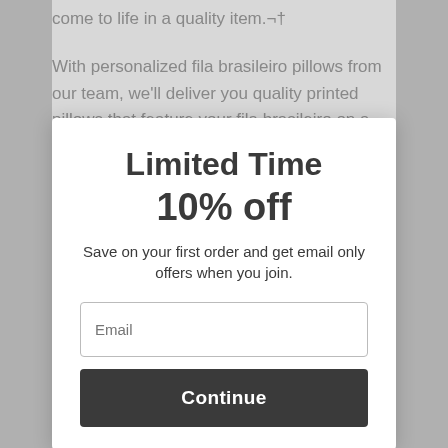come to life in a quality item.¬†
With personalized fila brasileiro pillows from our team, we'll deliver you quality printed pillows that feature your fila brasileiro on a variety of fun backgrounds.¬†
Enjoy gorgeous, high-quality colors and careful print jobs that elevate your pillow and give you a product you'll love. Plus, we review all designs before printing to make sure you're receiving the best fila brasileiro pillow you can imagine.
Pillows For Every Special Someone
Limited Time
10% off
Save on your first order and get email only offers when you join.
Email
Continue